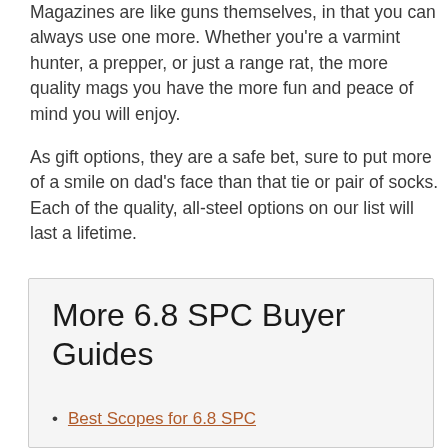Magazines are like guns themselves, in that you can always use one more. Whether you're a varmint hunter, a prepper, or just a range rat, the more quality mags you have the more fun and peace of mind you will enjoy.
As gift options, they are a safe bet, sure to put more of a smile on dad's face than that tie or pair of socks. Each of the quality, all-steel options on our list will last a lifetime.
More 6.8 SPC Buyer Guides
Best Scopes for 6.8 SPC